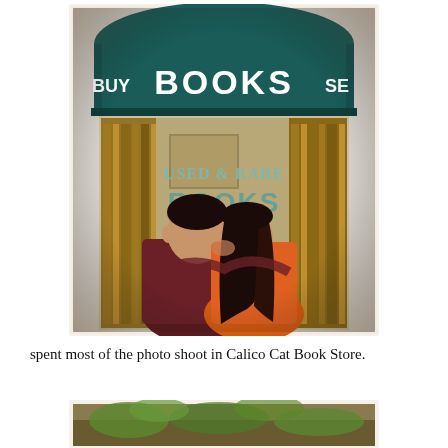[Figure (photo): A couple kissing in front of a used and rare bookstore called Calico Cat Book Store. The storefront has a dark teal awning with white lettering reading 'BOOKS' across the top and 'BUY' and 'SELL' on the sides. The store window has painted lettering reading 'USED & RARE BOOKS' and 'BOUGHT'. The man is wearing a dark maroon sweater and the woman is wearing an orange top with long dark hair.]
spent most of the photo shoot in Calico Cat Book Store.
[Figure (photo): Partial view of another photo, showing what appears to be a outdoor or nature scene, partially cropped at the bottom of the page.]